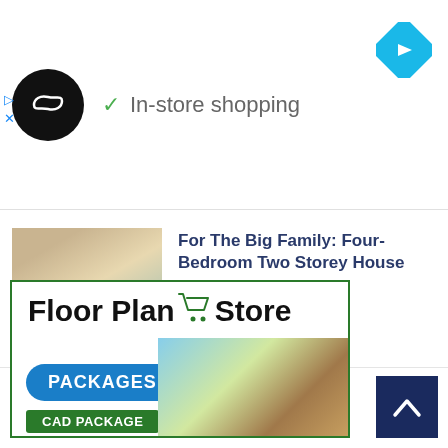[Figure (screenshot): Ad bar with circular logo, 'In-store shopping' checkmark text, and blue diamond navigation icon]
Design
10
For The Big Family: Four-Bedroom Two Storey House
0
[Figure (illustration): Floor Plan Store advertisement with logo, shopping cart icon, PACKAGES button, house images, and CAD PACKAGE button]
[Figure (other): Back to top arrow button in dark navy blue]